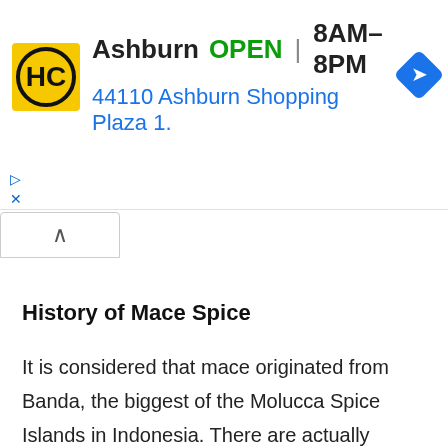[Figure (screenshot): Advertisement banner for HC store in Ashburn showing logo, OPEN status, hours 8AM-8PM, address 44110 Ashburn Shopping Plaza 1., and navigation arrow icon. Includes ad controls (play/close icons).]
History of Mace Spice
It is considered that mace originated from Banda, the biggest of the Molucca Spice Islands in Indonesia. There are actually accounts of Roman author Pliny mentioning two flavors of mace around first century AD. It is stated that Emperor Henry VI smoked the streets of Rome along with mace before his